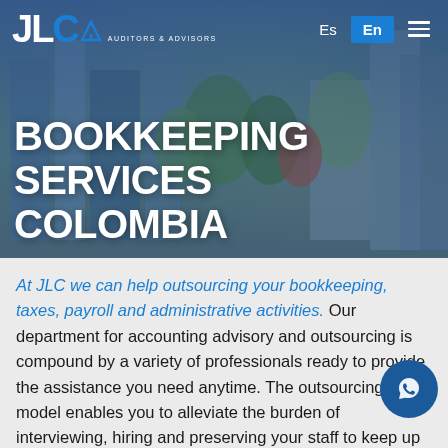[Figure (screenshot): JLC Auditors & Advisors website hero section showing a cityscape with buildings and trees in the background, with navigation bar at top.]
JLC AUDITORS ADVISORS | Es | En | Menu
BOOKKEEPING SERVICES COLOMBIA
At JLC we can help outsourcing your bookkeeping, taxes, payroll and administrative activities. Our department for accounting advisory and outsourcing is compound by a variety of professionals ready to provide the assistance you need anytime. The outsourcing model enables you to alleviate the burden of interviewing, hiring and preserving your staff to keep up with your